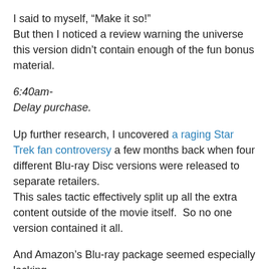I said to myself, “Make it so!” But then I noticed a review warning the universe this version didn’t contain enough of the fun bonus material.
6:40am-
Delay purchase.
Up further research, I uncovered a raging Star Trek fan controversy a few months back when four different Blu-ray Disc versions were released to separate retailers. This sales tactic effectively split up all the extra content outside of the movie itself.  So no one version contained it all.
And Amazon’s Blu-ray package seemed especially lacking...
So I put away my phaser and cancelled the mission.